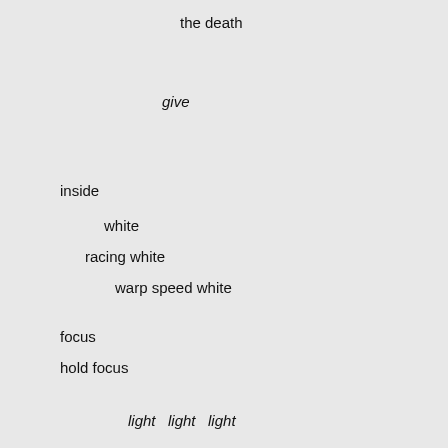the death
give
inside
white
racing white
warp speed white
focus
hold focus
light   light   light
surrender
light